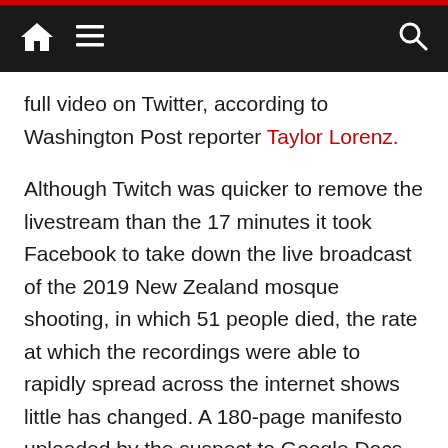[Navigation bar with home, menu, and search icons]
full video on Twitter, according to Washington Post reporter Taylor Lorenz.
Although Twitch was quicker to remove the livestream than the 17 minutes it took Facebook to take down the live broadcast of the 2019 New Zealand mosque shooting, in which 51 people died, the rate at which the recordings were able to rapidly spread across the internet shows little has changed. A 180-page manifesto uploaded by the suspect to Google Docs last Thursday credited the 4chan community for his radicalization in white supremacy and repeatedly cited the racist “great replacement” conspiracy theory—which many social media companies pledged to eliminate from their platforms in the wake of the Christchurch terror